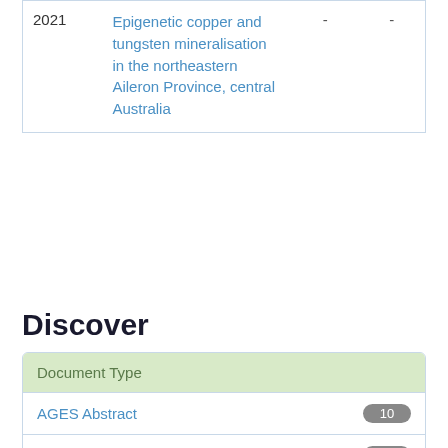| Year | Title | Col3 | Col4 |
| --- | --- | --- | --- |
| 2021 | Epigenetic copper and tungsten mineralisation in the northeastern Aileron Province, central Australia | - | - |
Discover
| Document Type |  |
| --- | --- |
| AGES Abstract | 10 |
| Presentation | 10 |
| Conference Proceedings | 2 |